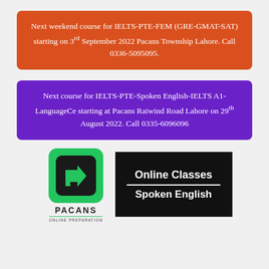Next weekend course for IELTS-PTE-FEM (GRE-GMAT-SAT) starting on 3rd September 2022 Pacans Township Lahore. Call 0336-5095095.
Next course for IELTS-PTE-Spoken English-IELTS A1-LanguageCe starting at Pacans Raiwind Road Lahore on 29th August 2022. Call 0335-6096096
[Figure (logo): Pacans Online Preparation logo with green rounded square icon containing an upward arrow, text PACANS in bold, and ONLINE PREPARATION subtitle]
[Figure (infographic): Black rectangle with white bold text: Online Classes (top) with horizontal white divider line, Spoken English (bottom)]